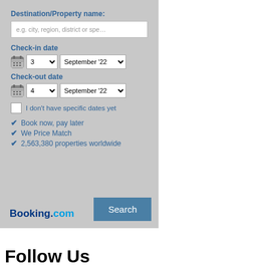Destination/Property name:
e.g. city, region, district or spe…
Check-in date
3  September '22
Check-out date
4  September '22
I don't have specific dates yet
Book now, pay later
We Price Match
2,563,380 properties worldwide
[Figure (logo): Booking.com logo with blue 'Booking.' and cyan '.com' text]
Search
Follow Us